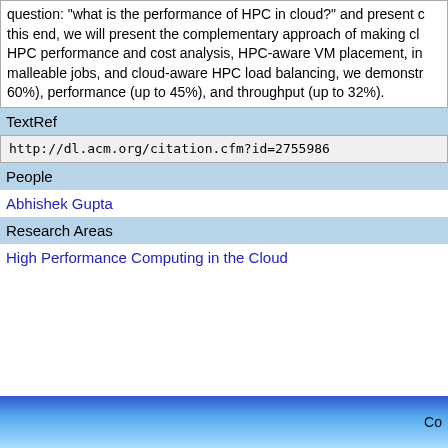question: "what is the performance of HPC in cloud?" and present c... this end, we will present the complementary approach of making cl... HPC performance and cost analysis, HPC-aware VM placement, in malleable jobs, and cloud-aware HPC load balancing, we demonstr... 60%), performance (up to 45%), and throughput (up to 32%).
TextRef
http://dl.acm.org/citation.cfm?id=2755986
People
Abhishek Gupta
Research Areas
High Performance Computing in the Cloud
Co